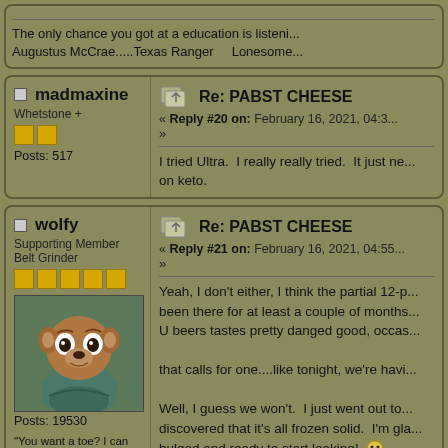The only chance you got at a education is listenin... Augustus McCrae.....Texas Ranger    Lonesome...
Re: PABST CHEESE — Reply #20 on: February 16, 2021, 04:3...
I tried Ultra.  I really really tried.  It just ne... on keto.
Re: PABST CHEESE — Reply #21 on: February 16, 2021, 04:55...
Yeah, I don't either, I think the partial 12-p... been there for at least a couple of months... U beers tastes pretty danged good, occas... that calls for one....like tonight, we're havi... Well, I guess we won't.  I just went out to ... discovered that it's all frozen solid.  I'm gla... bulged and ready to start leaking!